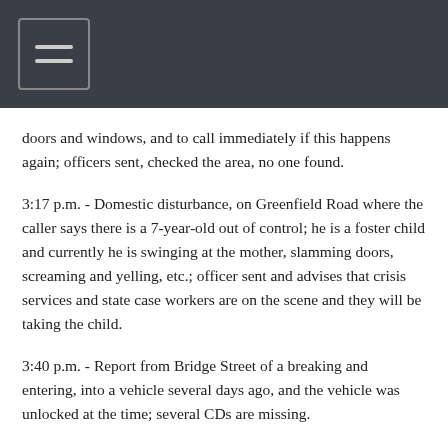doors and windows, and to call immediately if this happens again; officers sent, checked the area, no one found.
3:17 p.m. - Domestic disturbance, on Greenfield Road where the caller says there is a 7-year-old out of control; he is a foster child and currently he is swinging at the mother, slamming doors, screaming and yelling, etc.; officer sent and advises that crisis services and state case workers are on the scene and they will be taking the child.
3:40 p.m. - Report from Bridge Street of a breaking and entering, into a vehicle several days ago, and the vehicle was unlocked at the time; several CDs are missing.
5:19 p.m. - Caller from Randall Road reports a bear in the